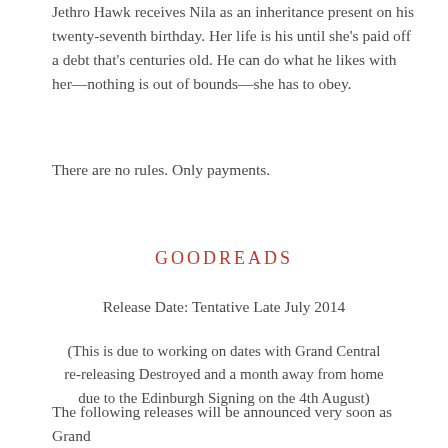Jethro Hawk receives Nila as an inheritance present on his twenty-seventh birthday. Her life is his until she's paid off a debt that's centuries old. He can do what he likes with her—nothing is out of bounds—she has to obey.
There are no rules. Only payments.
GOODREADS
Release Date: Tentative Late July 2014
(This is due to working on dates with Grand Central re-releasing Destroyed and a month away from home due to the Edinburgh Signing on the 4th August)
The following releases will be announced very soon as Grand